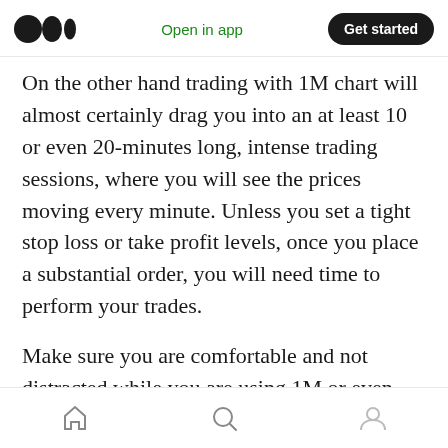Open in app | Get started
On the other hand trading with 1M chart will almost certainly drag you into an at least 10 or even 20-minutes long, intense trading sessions, where you will see the prices moving every minute. Unless you set a tight stop loss or take profit levels, once you place a substantial order, you will need time to perform your trades.
Make sure you are comfortable and not distracted while you are using 1M or even 5M charts with your mobile trading app.
Making orders
Home | Search | Profile